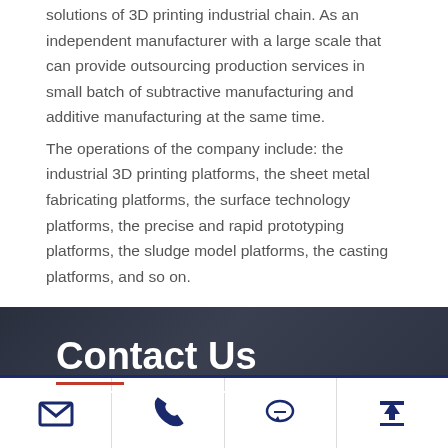solutions of 3D printing industrial chain. As an independent manufacturer with a large scale that can provide outsourcing production services in small batch of subtractive manufacturing and additive manufacturing at the same time.
The operations of the company include: the industrial 3D printing platforms, the sheet metal fabricating platforms, the surface technology platforms, the precise and rapid prototyping platforms, the sludge model platforms, the casting platforms, and so on.
Contact Us
[Figure (infographic): Footer navigation bar with four icons: email envelope, phone handset, chat bubble, and upload/back-to-top arrow, separated by vertical lines on a white background with a dark navy top border.]